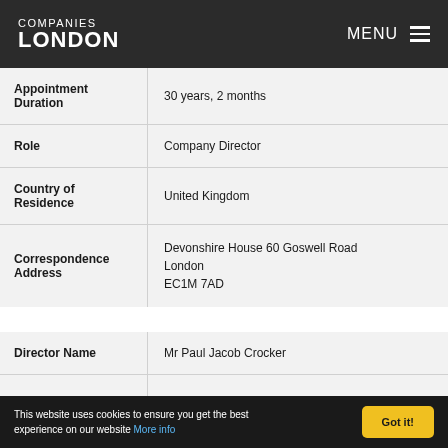COMPANIES LONDON — MENU
| Field | Value |
| --- | --- |
| Appointment Duration | 30 years, 2 months |
| Role | Company Director |
| Country of Residence | United Kingdom |
| Correspondence Address | Devonshire House 60 Goswell Road London EC1M 7AD |
| Field | Value |
| --- | --- |
| Director Name | Mr Paul Jacob Crocker |
This website uses cookies to ensure you get the best experience on our website More info